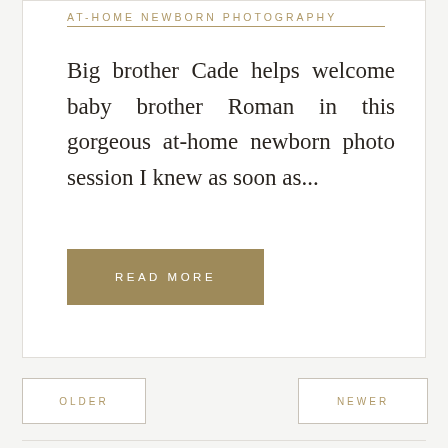AT-HOME NEWBORN PHOTOGRAPHY
Big brother Cade helps welcome baby brother Roman in this gorgeous at-home newborn photo session I knew as soon as...
READ MORE
OLDER
NEWER